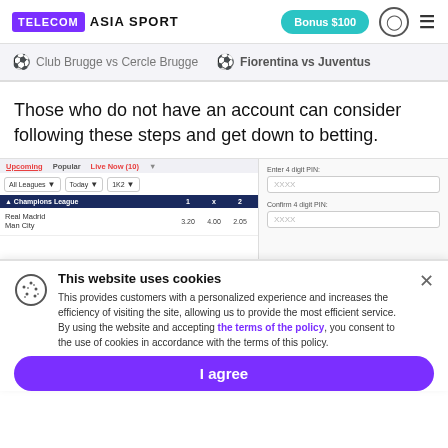TELECOM ASIA SPORT | Bonus $100
Club Brugge vs Cercle Brugge  Fiorentina vs Juventus
Those who do not have an account can consider following these steps and get down to betting.
[Figure (screenshot): Sports betting website interface showing All Leagues / Today / 1K2 filters, Champions League table with Real Madrid vs Man City odds (3.20, 4.00, 2.05), and a 4-digit PIN entry form on the right.]
This website uses cookies
This provides customers with a personalized experience and increases the efficiency of visiting the site, allowing us to provide the most efficient service. By using the website and accepting the terms of the policy, you consent to the use of cookies in accordance with the terms of this policy.
I agree